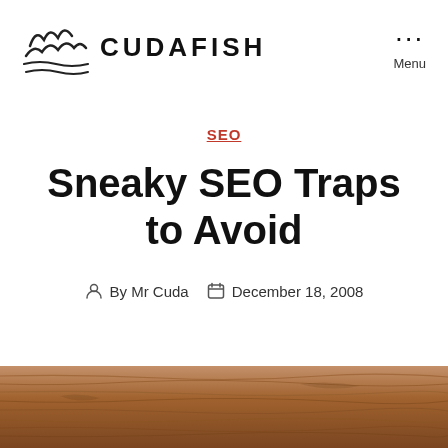CUDAFISH
SEO
Sneaky SEO Traps to Avoid
By Mr Cuda   December 18, 2008
[Figure (photo): Wood texture background at bottom of page]